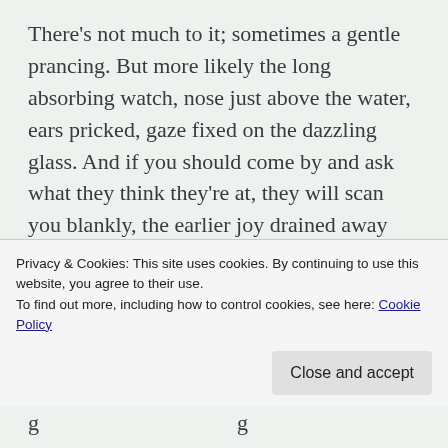There's not much to it; sometimes a gentle prancing. But more likely the long absorbing watch, nose just above the water, ears pricked, gaze fixed on the dazzling glass. And if you should come by and ask what they think they're at, they will scan you blankly, the earlier joy drained away like swell off a pitching dhow. And, after a moment's condescending consideration, they will return again to the sea search, every fibre assuming once more that sense of delighted expectation which you so
Privacy & Cookies: This site uses cookies. By continuing to use this website, you agree to their use.
To find out more, including how to control cookies, see here: Cookie Policy
Close and accept
g p g